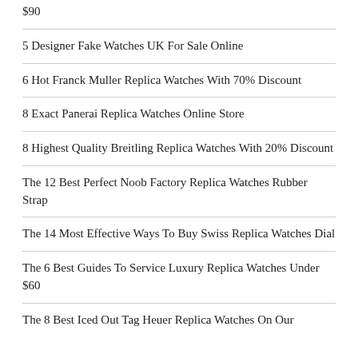$90
5 Designer Fake Watches UK For Sale Online
6 Hot Franck Muller Replica Watches With 70% Discount
8 Exact Panerai Replica Watches Online Store
8 Highest Quality Breitling Replica Watches With 20% Discount
The 12 Best Perfect Noob Factory Replica Watches Rubber Strap
The 14 Most Effective Ways To Buy Swiss Replica Watches Dial
The 6 Best Guides To Service Luxury Replica Watches Under $60
The 8 Best Iced Out Tag Heuer Replica Watches On Our